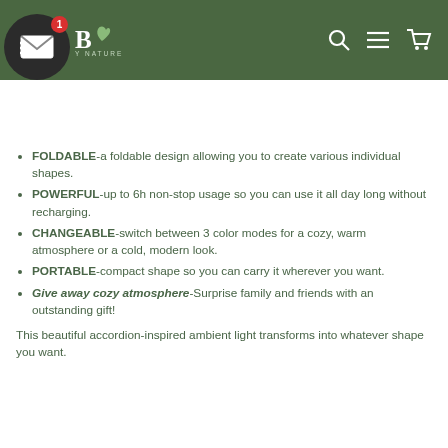B By Nature - navigation header with logo, search, menu, and cart icons
FOLDABLE-a foldable design allowing you to create various individual shapes.
POWERFUL-up to 6h non-stop usage so you can use it all day long without recharging.
CHANGEABLE-switch between 3 color modes for a cozy, warm atmosphere or a cold, modern look.
PORTABLE-compact shape so you can carry it wherever you want.
Give away cozy atmosphere-Surprise family and friends with an outstanding gift!
This beautiful accordion-inspired ambient light transforms into whatever shape you want.